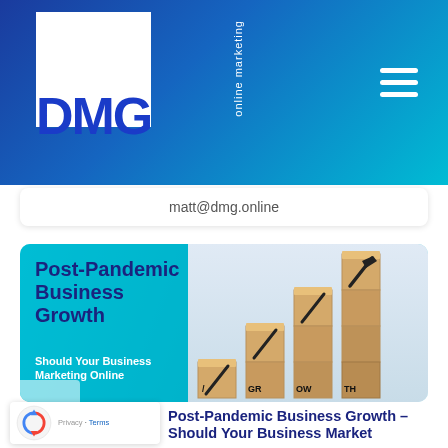DMG online marketing
matt@dmg.online
[Figure (illustration): Post-Pandemic Business Growth article banner with teal/cyan diagonal background and wooden stacking blocks on the right side showing GROWTH text with upward arrow]
Post-Pandemic Business Growth – Should Your Business Market